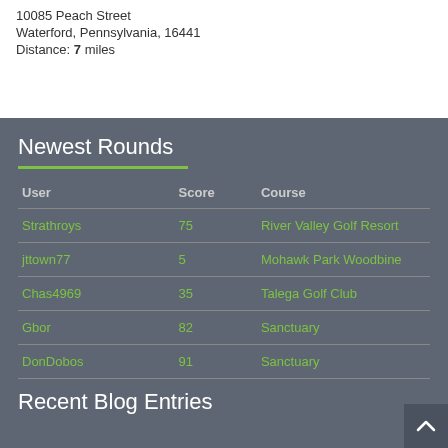10085 Peach Street
Waterford, Pennsylvania, 16441
Distance: 7 miles
Newest Rounds
| User | Score | Course |
| --- | --- | --- |
| Strathroys | 75 | River Valley Golf Resort |
| jttown77 | 5 | Mohawk Park Woodbine |
| Chas4969 | 35 | Talega Golf Club |
| Gbor | 82 | Sanctuary |
| DonDobos | 91 | Sanctuary |
Recent Blog Entries